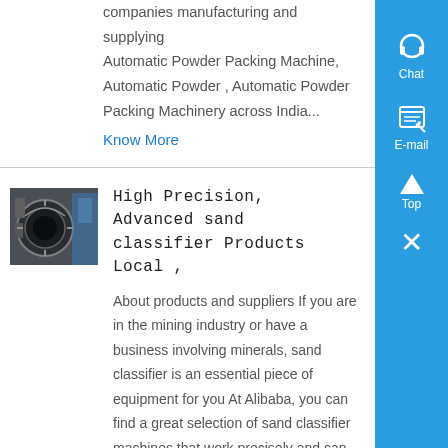companies manufacturing and supplying Automatic Powder Packing Machine, Automatic Powder , Automatic Powder Packing Machinery across India...
Know More
[Figure (photo): Industrial machinery photo showing a sand classifier machine.]
High Precision, Advanced sand classifier Products Local ,
About products and suppliers If you are in the mining industry or have a business involving minerals, sand classifier is an essential piece of equipment for you At Alibaba, you can find a great selection of sand classifier machines that work precisely and can ease your work greatlysand classifier machines deliver high-volume screening